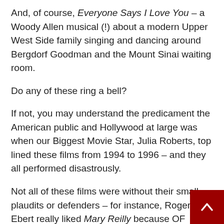And, of course, Everyone Says I Love You – a Woody Allen musical (!) about a modern Upper West Side family singing and dancing around Bergdorf Goodman and the Mount Sinai waiting room.
Do any of these ring a bell?
If not, you may understand the predicament the American public and Hollywood at large was when our Biggest Movie Star, Julia Roberts, top lined these films from 1994 to 1996 – and they all performed disastrously.
Not all of these films were without their small plaudits or defenders – for instance, Roger Ebert really liked Mary Reilly because OF COURSE he d But for many in the industry, these movies see to mark a dangerous turn in the career of a performer seemingly designated as the future of